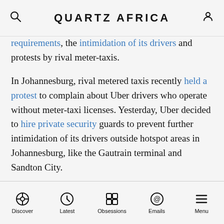QUARTZ AFRICA
requirements, the intimidation of its drivers and protests by rival meter-taxis.

In Johannesburg, rival metered taxis recently held a protest to complain about Uber drivers who operate without meter-taxi licenses. Yesterday, Uber decided to hire private security guards to prevent further intimidation of its drivers outside hotspot areas in Johannesburg, like the Gautrain terminal and Sandton City.
Discover | Latest | Obsessions | Emails | Menu